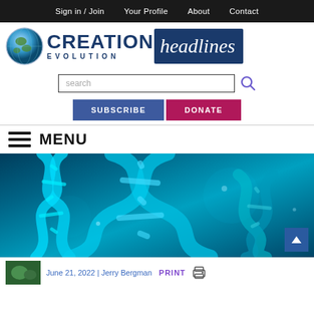Sign in / Join   Your Profile   About   Contact
[Figure (logo): Creation Evolution Headlines website logo with globe icon, bold blue CREATION EVOLUTION text, and headlines in white italic on dark blue background]
[Figure (screenshot): Search input box with placeholder text 'search' and a purple search icon to the right]
[Figure (infographic): SUBSCRIBE button (dark blue) and DONATE button (dark pink/red)]
≡ MENU
[Figure (photo): Close-up photo of glowing blue/cyan DNA double helix strands on dark teal background]
June 21, 2022 | Jerry Bergman   PRINT